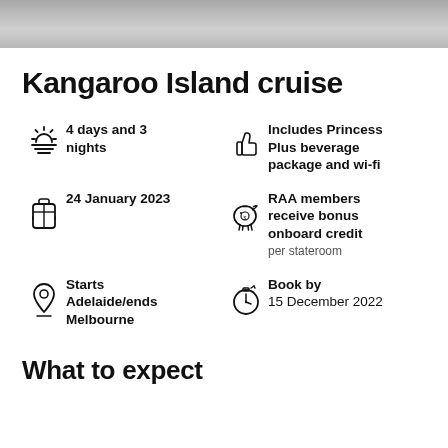[Figure (photo): Top banner photo crop showing a cruise-related image]
Kangaroo Island cruise
4 days and 3 nights
Includes Princess Plus beverage package and wi-fi
24 January 2023
RAA members receive bonus onboard credit per stateroom
Starts Adelaide/ends Melbourne
Book by 15 December 2022
What to expect